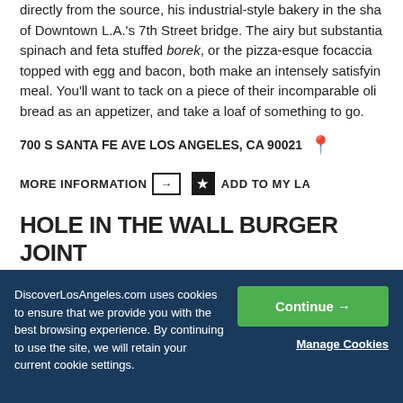directly from the source, his industrial-style bakery in the shadow of Downtown L.A.'s 7th Street bridge. The airy but substantial spinach and feta stuffed borek, or the pizza-esque focaccia topped with egg and bacon, both make an intensely satisfying meal. You'll want to tack on a piece of their incomparable olive bread as an appetizer, and take a loaf of something to go.
700 S SANTA FE AVE LOS ANGELES, CA 90021
MORE INFORMATION  ADD TO MY LA
HOLE IN THE WALL BURGER JOINT
There aren't many hamburgers where the bun is the main ev… but in the case of the pretzel bun at Hole in the Wall Burge…
DiscoverLosAngeles.com uses cookies to ensure that we provide you with the best browsing experience. By continuing to use the site, we will retain your current cookie settings.
Continue
Manage Cookies